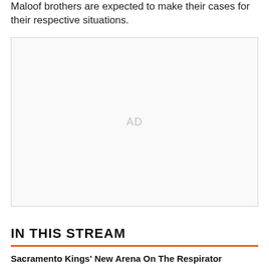Maloof brothers are expected to make their cases for their respective situations.
[Figure (other): Advertisement placeholder box with 'AD' label in light gray]
IN THIS STREAM
Sacramento Kings' New Arena On The Respirator